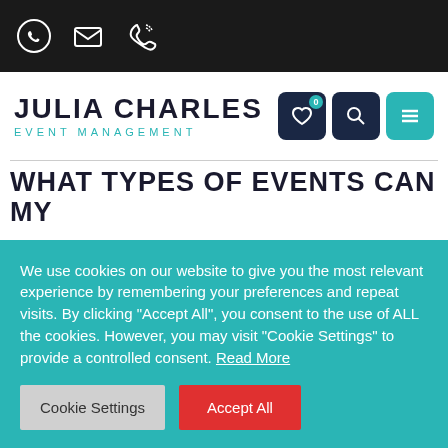[Figure (screenshot): Top navigation bar with dark background showing WhatsApp, email, and phone icons in white]
[Figure (logo): Julia Charles Event Management logo with dark bold text and teal subtitle, plus teal/dark navigation icons (heart, search, hamburger)]
WHAT TYPES OF EVENTS CAN MY
We use cookies on our website to give you the most relevant experience by remembering your preferences and repeat visits. By clicking “Accept All”, you consent to the use of ALL the cookies. However, you may visit "Cookie Settings" to provide a controlled consent. Read More